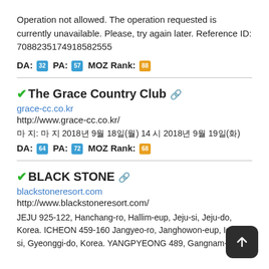Operation not allowed. The operation requested is currently unavailable. Please, try again later. Reference ID: 7088235174918582555
DA: 32 PA: 57 MOZ Rank: 88
✓The Grace Country Club 🔗
grace-cc.co.kr
http://www.grace-cc.co.kr/
마 지: 마 지 2018년 9월 18일(월) 14 시 2018년 9월 19일(화)
DA: 64 PA: 72 MOZ Rank: 68
✓BLACK STONE 🔗
blackstoneresort.com
http://www.blackstoneresort.com/
JEJU 925-122, Hanchang-ro, Hallim-eup, Jeju-si, Jeju-do, Korea. ICHEON 459-160 Jangyeo-ro, Janghowon-eup, Icheon-si, Gyeonggi-do, Korea. YANGPYEONG 489, Gangnam-ro ...